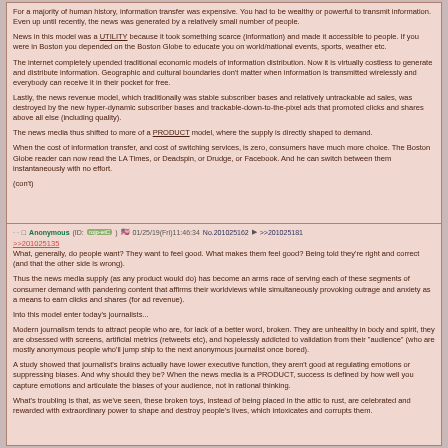For a majority of human history, information transfer was expensive. You had to be wealthy or powerful to transmit information. Even up until recently, the news was generated by a relatively small number of people.

News in this model was a UTILITY because it took something scarce (information) and made it accessible to people. If you were in Boston you depended on the Boston Globe to educate you on world/national events, sports, weather etc.

The internet completely upended traditional economic models of information distribution. Now it is virtually costless to generate and distribute information. Geographic and cultural boundaries don't matter when information is transmitted wirelessly and everybody can receive it in their pocket for free.

Lastly, the news revenue model, which traditionally was stable subscriber bases and relatively untrackable ad sales, was destroyed by the new hyper-dynamic subscriber bases and trackable-down-to-the-pixel ads that promoted clicks and shares above all else (including quality).

The news media thus shifted to more of a PRODUCT model, where the supply is directly shaped to demand.

When the cost of information transfer, and cost of switching services, is zero, consumers have much more choice. The Boston Globe reader can now read the LA Times, or Deadspin, or Drudge, or Facebook. And he can switch between them instantaneously with no effort.

(con't)
Anonymous (ID: rojp-etC) 01/25/19(Fri)11:46:34 No.201025162 >>201025181

>>201025135
What, generally, do people want? They want to feel good. What makes them feel good? Being told they're right and correct (and that the other side is wrong).

Thus the news media supply (as any product would do) has become an arms race of serving each of these segments of consumer demand with pandering content that affirms their worldviews while simultaneously provoking outrage and anxiety as a means to earn clicks and shares (for ad revenue).

Into this model enter today's journalists...

Modern journalism tends to attract people who are, for lack of a better word, broken. They are unhealthy in body and spirit, they are obsessed with screens, artificial metrics (retweets etc), and hopelessly addicted to validation from their "audience" (who are mostly anonymous people who'll jump ship to the next anonymous journalist once bored).

A study showed that journalist's brains actually have lower executive function, they aren't good at regulating emotions or suppressing biases. And why should they be? When the news media is a PRODUCT, success is defined by how well you capture emotions and articulate the biases of your audience, not in rational thinking.

What's troubling is that, as we've seen, these broken toys, instead of being placed in the attic to rust, are celebrated and rewarded with extraordinary power to shape and destroy people's lives, which intoxicates and corrupts them.